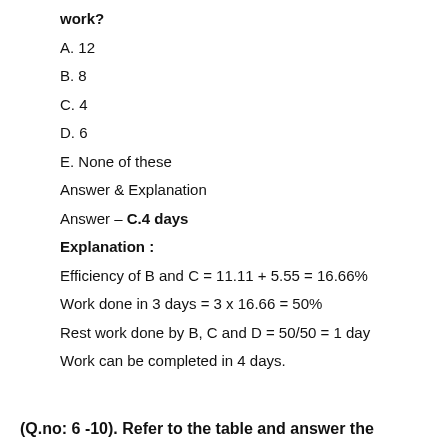work?
A. 12
B. 8
C. 4
D. 6
E. None of these
Answer & Explanation
Answer – C.4 days
Explanation :
Efficiency of B and C = 11.11 + 5.55 = 16.66%
Work done in 3 days = 3 x 16.66 = 50%
Rest work done by B, C and D = 50/50 = 1 day
Work can be completed in 4 days.
(Q.no: 6 -10). Refer to the table and answer the